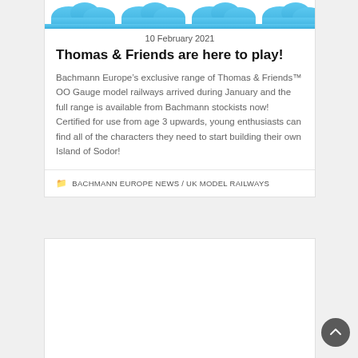[Figure (illustration): Blue cloud/wave decorative illustration at top of article card]
10 February 2021
Thomas & Friends are here to play!
Bachmann Europe’s exclusive range of Thomas & Friends™ OO Gauge model railways arrived during January and the full range is available from Bachmann stockists now! Certified for use from age 3 upwards, young enthusiasts can find all of the characters they need to start building their own Island of Sodor!
BACHMANN EUROPE NEWS / UK MODEL RAILWAYS